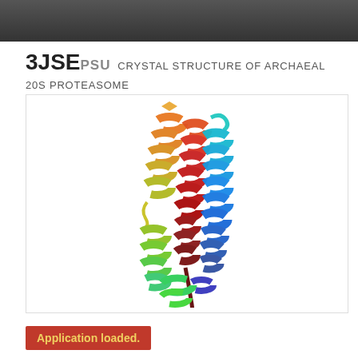3JSE PSU Crystal structure of archaeal 20s proteasome in complex with mutated p26 activator
[Figure (illustration): 3D ribbon diagram of protein structure showing alpha-helical coils colored in a rainbow spectrum from blue/cyan at top to green/yellow in middle to red/dark-red at bottom, representing the crystal structure of archaeal 20S proteasome in complex with mutated p26 activator.]
Application loaded.